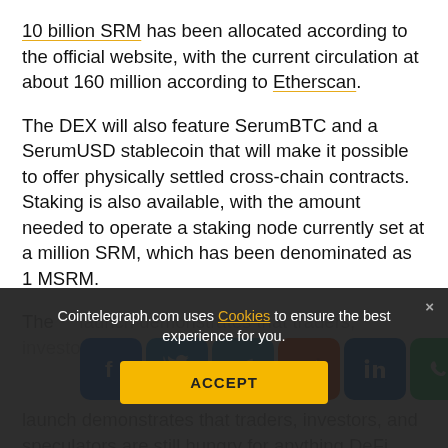10 billion SRM has been allocated according to the official website, with the current circulation at about 160 million according to Etherscan.
The DEX will also feature SerumBTC and a SerumUSD stablecoin that will make it possible to offer physically settled cross-chain contracts. Staking is also available, with the amount needed to operate a staking node currently set at a million SRM, which has been denominated as 1 MSRM.
[Figure (infographic): Social share bar with icons: Facebook, Twitter, Telegram, Reddit, LinkedIn, WhatsApp, Copy, scroll-to-top]
The ... launch demonstrates that traders, investors, and speculators are still hungry for anything DeFi related.
DeFi markets have ... new all-time highs in terms of total value locked, with the latest peak of $4.75
Cointelegraph.com uses Cookies to ensure the best experience for you.
ACCEPT